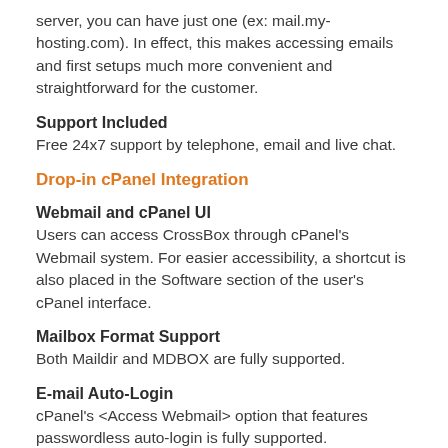server, you can have just one (ex: mail.my-hosting.com). In effect, this makes accessing emails and first setups much more convenient and straightforward for the customer.
Support Included
Free 24x7 support by telephone, email and live chat.
Drop-in cPanel Integration
Webmail and cPanel UI
Users can access CrossBox through cPanel's Webmail system. For easier accessibility, a shortcut is also placed in the Software section of the user's cPanel interface.
Mailbox Format Support
Both Maildir and MDBOX are fully supported.
E-mail Auto-Login
cPanel's <Access Webmail> option that features passwordless auto-login is fully supported.
E-mail, Disk, MySQL and Bandwidth Quotas Support
Everything that users store within CrossBox is counted against their cPanel hosting package quotas.